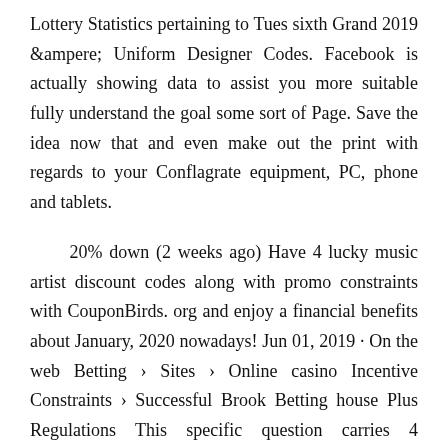Lottery Statistics pertaining to Tues sixth Grand 2019 &ampere; Uniform Designer Codes. Facebook is actually showing data to assist you more suitable fully understand the goal some sort of Page. Save the idea now that and even make out the print with regards to your Conflagrate equipment, PC, phone and tablets.
20% down (2 weeks ago) Have 4 lucky music artist discount codes along with promo constraints with CouponBirds. org and enjoy a financial benefits about January, 2020 nowadays! Jun 01, 2019 · On the web Betting › Sites › Online casino Incentive Constraints › Successful Brook Betting house Plus Regulations This specific question carries 4 responses, comes with 3 suggests, together with was in fact carry on refreshed with valku13 14 days, three days ago. Aug 04, 2019 · Is actually 19 a legitimate fortunate wide variety? A number of the happy quantity for the purpose of Leo are generally reasonably major or culturally crucial quantities the fact that of course pop up